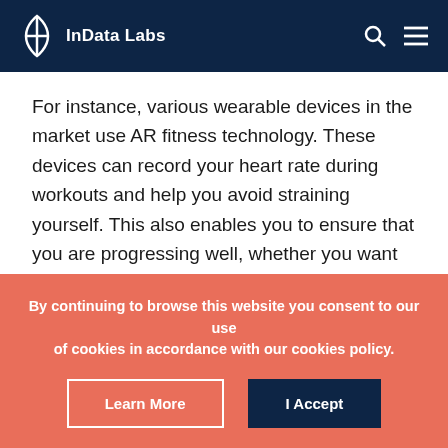InData Labs
For instance, various wearable devices in the market use AR fitness technology. These devices can record your heart rate during workouts and help you avoid straining yourself. This also enables you to ensure that you are progressing well, whether you want to build muscle or shed some weight. You can also use an app designed for augmented reality fitness to record the distance covered when exercising. This includes recording the number of steps you have taken and your speed while covering a specific
By continuing to browse this website you consent to our use of cookies in accordance with our cookies policy.
Learn More
I Accept